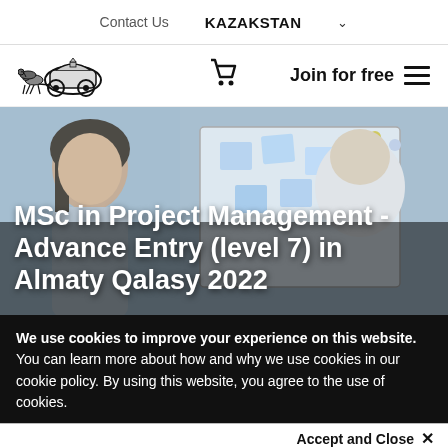Contact Us    KAZAKSTAN
[Figure (logo): Horse-drawn carriage logo illustration in black and white]
[Figure (photo): Young woman smiling, working at a whiteboard with sticky notes, another person visible from behind]
MSc in Project Management - Advance Entry (level 7) in Almaty Qalasy 2022
We use cookies to improve your experience on this website. You can learn more about how and why we use cookies in our cookie policy. By using this website, you agree to the use of cookies.
Accept and Close ×
Your browser settings do not allow cross-site tracking for advertising. Click on this page to allow AdRoll to use cross-site tracking to tailor ads to you. Learn more or opt out of this AdRoll tracking by clicking here. This message only appears once.